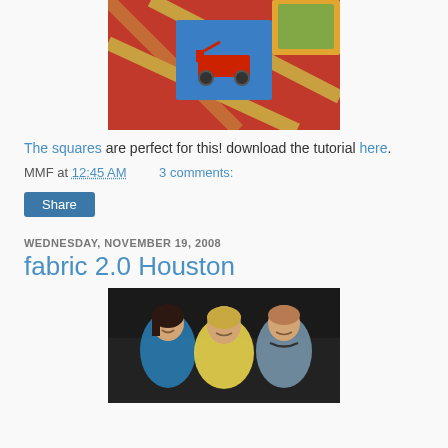[Figure (photo): Close-up photo of a colorful quilt with red polka-dot background and blue square blocks featuring toy images including a red wagon. Gold/yellow lattice strips between the blocks.]
The squares are perfect for this! download the tutorial here.
MMF at 12:45 AM    3 comments:
Share
WEDNESDAY, NOVEMBER 19, 2008
fabric 2.0 Houston
[Figure (photo): Photo of three women smiling together at what appears to be an event or conference. Left woman has dark hair and wears teal/blue, center woman has blonde hair and wears yellow, right woman has short hair and wears blue-gray with a dark necklace.]